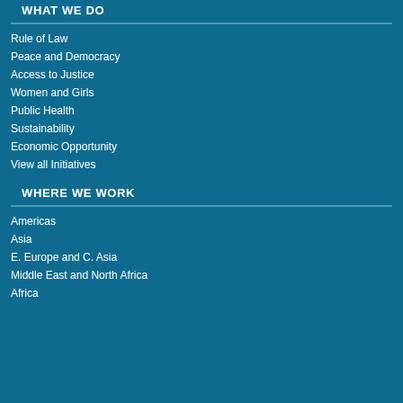WHAT WE DO
Rule of Law
Peace and Democracy
Access to Justice
Women and Girls
Public Health
Sustainability
Economic Opportunity
View all Initiatives
WHERE WE WORK
Americas
Asia
E. Europe and C. Asia
Middle East and North Africa
Africa